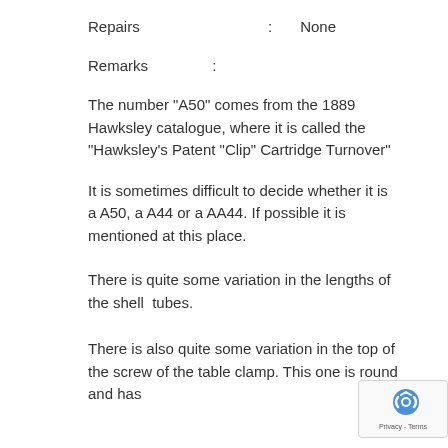Repairs : None
Remarks :
The number "A50" comes from the 1889 Hawksley catalogue, where it is called the "Hawksley's Patent "Clip" Cartridge Turnover"
It is sometimes difficult to decide whether it is a A50, a A44 or a AA44. If possible it is mentioned at this place.
There is quite some variation in the lengths of the shell  tubes.
There is also quite some variation in the top of the screw of the table clamp. This one is round and has